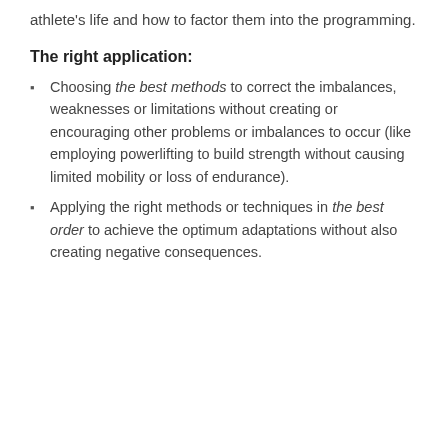athlete's life and how to factor them into the programming.
The right application:
Choosing the best methods to correct the imbalances, weaknesses or limitations without creating or encouraging other problems or imbalances to occur (like employing powerlifting to build strength without causing limited mobility or loss of endurance).
Applying the right methods or techniques in the best order to achieve the optimum adaptations without also creating negative consequences.